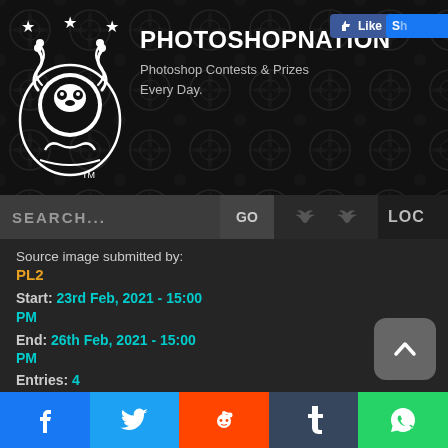[Figure (screenshot): PhotoshopNation website header with logo (ornate white emblem with lions/serpents on dark background), site title PHOTOSHOPNATION™, subtitle 'Photoshop Contests & Prizes Every Day.', and a Facebook Like button]
SEARCH...
GO
LOC
Source image submitted by:
PL2
Start:  23rd Feb, 2021 - 15:00 PM
End:  26th Feb, 2021 - 15:00 PM
Entries:  4
BOUNTY: 80  Avg. Score:  51.640 Avg.
Votes:  25
[Figure (infographic): Social media share footer with five buttons: Facebook (blue, f icon), Twitter (blue, bird icon), Reddit (orange, alien icon), Tumblr (dark blue, t icon), WhatsApp (green, phone icon)]